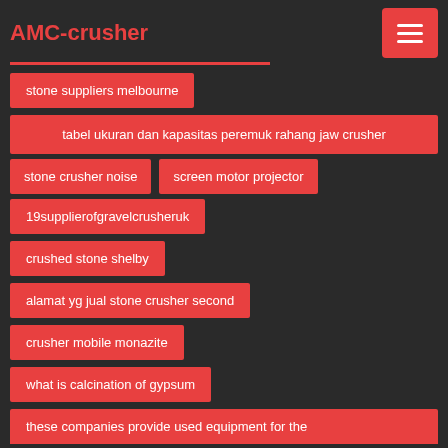AMC-crusher
stone suppliers melbourne
tabel ukuran dan kapasitas peremuk rahang jaw crusher
stone crusher noise
screen motor projector
19supplierofgravelcrusheruk
crushed stone shelby
alamat yg jual stone crusher second
crusher mobile monazite
what is calcination of gypsum
these companies provide used equipment for the